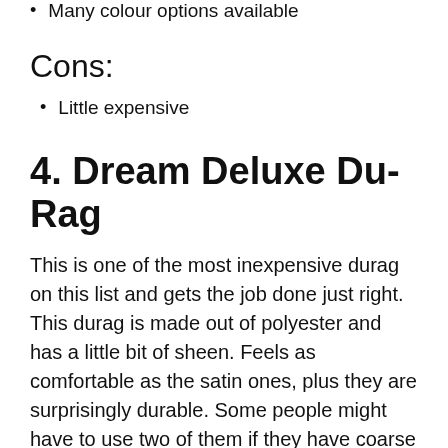Many colour options available
Cons:
Little expensive
4. Dream Deluxe Du-Rag
This is one of the most inexpensive durag on this list and gets the job done just right. This durag is made out of polyester and has a little bit of sheen. Feels as comfortable as the satin ones, plus they are surprisingly durable. Some people might have to use two of them if they have coarse and unmanageable hair. There are no colour options available. But if you are okay with a single colour, then this durag might be a